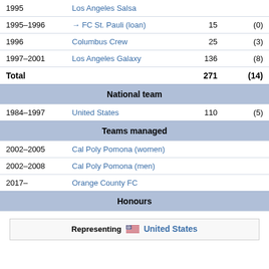| Year | Club | Apps | Goals |
| --- | --- | --- | --- |
| 1995 | Los Angeles Salsa |  |  |
| 1995–1996 | → FC St. Pauli (loan) | 15 | (0) |
| 1996 | Columbus Crew | 25 | (3) |
| 1997–2001 | Los Angeles Galaxy | 136 | (8) |
| Total |  | 271 | (14) |
| National team |  |  |  |
| 1984–1997 | United States | 110 | (5) |
| Teams managed |  |  |  |
| 2002–2005 | Cal Poly Pomona (women) |  |  |
| 2002–2008 | Cal Poly Pomona (men) |  |  |
| 2017– | Orange County FC |  |  |
| Honours |  |  |  |
| Representing United States |  |  |  |